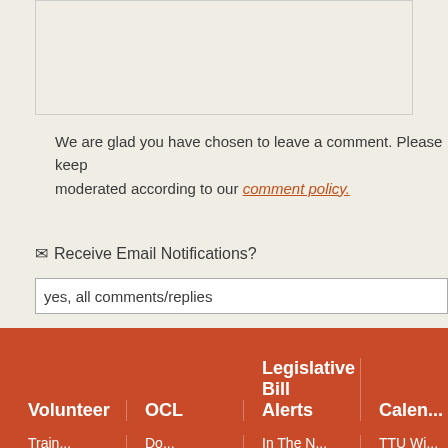[Figure (screenshot): Text area input box (partially visible at top of page)]
We are glad you have chosen to leave a comment. Please keep moderated according to our comment policy.
Receive Email Notifications?
yes, all comments/replies
Or, you can subscribe without commenting.
Submit Comment →
Privacy Policy
Volunteer   OCL   Legislative Bill Alerts   Calen...